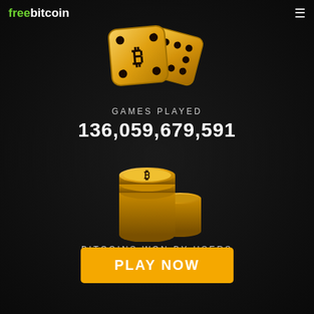freebitcoin
[Figure (illustration): Two golden dice with Bitcoin symbol on one face, shown on dark background]
GAMES PLAYED
136,059,679,591
[Figure (illustration): Stack of golden Bitcoin coins on dark background]
BITCOINS WON BY USERS
237,581.48835369
PLAY NOW